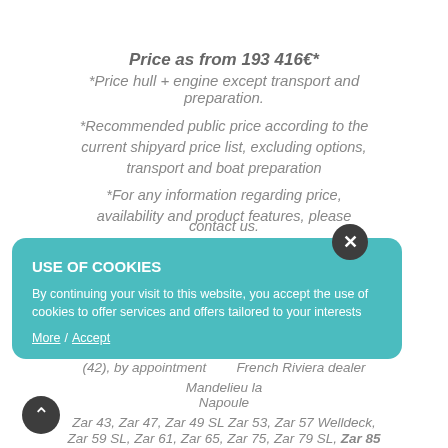Price as from 193 416€*
*Price hull + engine except transport and preparation.
*Recommended public price according to the current shipyard price list, excluding options, transport and boat preparation
*For any information regarding price, availability and product features, please contact us.
USE OF COOKIES
By continuing your visit to this website, you accept the use of cookies to offer services and offers tailored to your interests
More / Accept
Find all the nb boat range of the... Formenti (42), by appointment, French Riviera dealer Mandelieu la Napoule
Zar 43, Zar 47, Zar 49 SL Zar 53, Zar 57 Welldeck, Zar 59 SL, Zar 61, Zar 65, Zar 75, Zar 79 SL, Zar 85 SL, Zar 95 SL